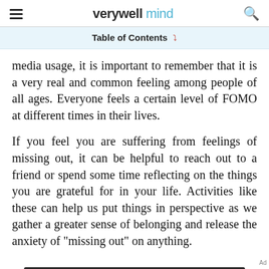verywell mind
Table of Contents
media usage, it is important to remember that it is a very real and common feeling among people of all ages. Everyone feels a certain level of FOMO at different times in their lives.
If you feel you are suffering from feelings of missing out, it can be helpful to reach out to a friend or spend some time reflecting on the things you are grateful for in your life. Activities like these can help us put things in perspective as we gather a greater sense of belonging and release the anxiety of "missing out" on anything.
[Figure (other): Dotdash Meredith advertisement banner with text: We help people find answers, solve problems and get inspired.]